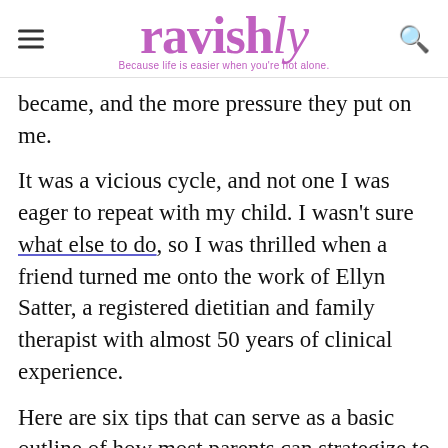ravishly — Because life is easier when you're not alone.
became, and the more pressure they put on me.
It was a vicious cycle, and not one I was eager to repeat with my child. I wasn't sure what else to do, so I was thrilled when a friend turned me onto the work of Ellyn Satter, a registered dietitian and family therapist with almost 50 years of clinical experience.
Here are six tips that can serve as a basic outline of how most parents can strategize to help their kids eat “better” and to calm the heck down when they don’t. Most of them come from a combination of Satter’s work and…